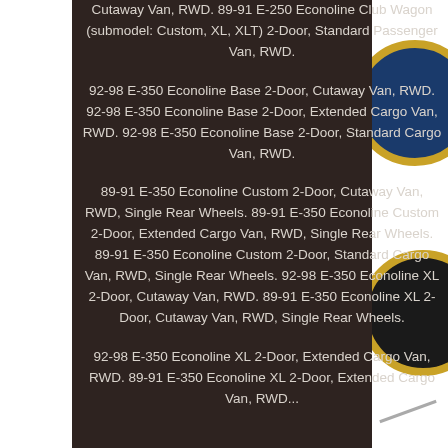Cutaway Van, RWD. 89-91 E-250 Econoline Club Wagon (submodel: Custom, XL, XLT) 2-Door, Standard Passenger Van, RWD.
92-98 E-350 Econoline Base 2-Door, Cutaway Van, RWD. 92-98 E-350 Econoline Base 2-Door, Extended Cargo Van, RWD. 92-98 E-350 Econoline Base 2-Door, Standard Cargo Van, RWD.
89-91 E-350 Econoline Custom 2-Door, Cutaway Van, RWD, Single Rear Wheels. 89-91 E-350 Econoline Custom 2-Door, Extended Cargo Van, RWD, Single Rear Wheels. 89-91 E-350 Econoline Custom 2-Door, Standard Cargo Van, RWD, Single Rear Wheels. 92-98 E-350 Econoline XL 2-Door, Cutaway Van, RWD. 89-91 E-350 Econoline XL 2-Door, Cutaway Van, RWD, Single Rear Wheels.
92-98 E-350 Econoline XL 2-Door, Extended Cargo Van, RWD. 89-91 E-350 Econoline XL 2-Door, Extended Cargo Van, RWD...